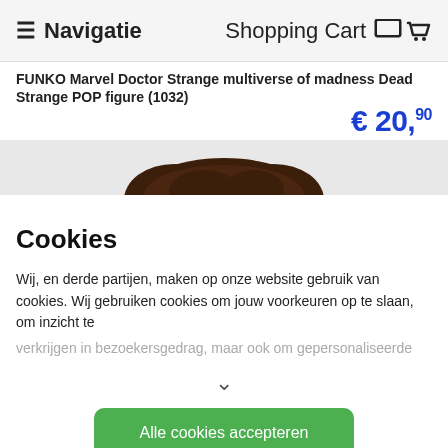≡ Navigatie   Shopping Cart 🛒
FUNKO Marvel Doctor Strange multiverse of madness Dead Strange POP figure (1032)
€ 20,90
[Figure (photo): Partial view of a FUNKO POP figure (Doctor Strange) showing dark brown hair at the top, cut off by the page]
Cookies
Wij, en derde partijen, maken op onze website gebruik van cookies. Wij gebruiken cookies om jouw voorkeuren op te slaan, om inzicht te verkrijgen in bezoekersgedrag, maar ook om gepersonaliseerde
Alle cookies accepteren
Cookievoorkeuren